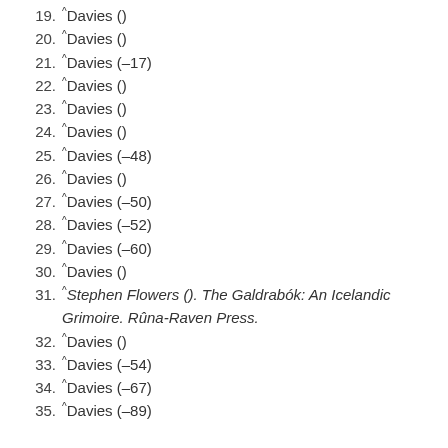19. ^Davies ()
20. ^Davies ()
21. ^Davies (–17)
22. ^Davies ()
23. ^Davies ()
24. ^Davies ()
25. ^Davies (–48)
26. ^Davies ()
27. ^Davies (–50)
28. ^Davies (–52)
29. ^Davies (–60)
30. ^Davies ()
31. ^Stephen Flowers (). The Galdrabók: An Icelandic Grimoire. Rûna-Raven Press.
32. ^Davies ()
33. ^Davies (–54)
34. ^Davies (–67)
35. ^Davies (–89)